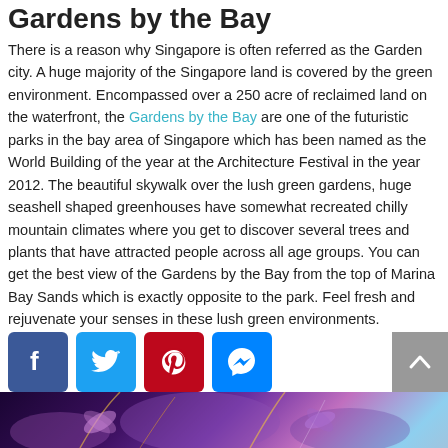Gardens by the Bay
There is a reason why Singapore is often referred as the Garden city. A huge majority of the Singapore land is covered by the green environment. Encompassed over a 250 acre of reclaimed land on the waterfront, the Gardens by the Bay are one of the futuristic parks in the bay area of Singapore which has been named as the World Building of the year at the Architecture Festival in the year 2012. The beautiful skywalk over the lush green gardens, huge seashell shaped greenhouses have somewhat recreated chilly mountain climates where you get to discover several trees and plants that have attracted people across all age groups. You can get the best view of the Gardens by the Bay from the top of Marina Bay Sands which is exactly opposite to the park. Feel fresh and rejuvenate your senses in these lush green environments.
[Figure (other): Social media share buttons: Facebook, Twitter, Pinterest, Messenger; scroll-to-top button; bottom decorative image strip of Gardens by the Bay lights]